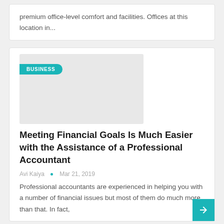premium office-level comfort and facilities. Offices at this location in...
[Figure (photo): Placeholder image with BUSINESS badge label in teal]
Meeting Financial Goals Is Much Easier with the Assistance of a Professional Accountant
Avi Kaiya  •  Mar 21, 2019
Professional accountants are experienced in helping you with a number of financial issues but most of them do much more than that. In fact,